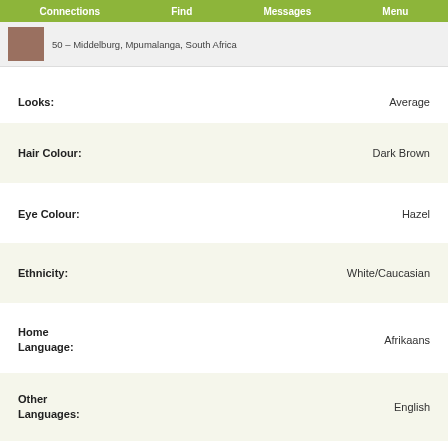Connections  Find  Messages  Menu
50 – Middelburg, Mpumalanga, South Africa
| Field | Value |
| --- | --- |
| Looks: | Average |
| Hair Colour: | Dark Brown |
| Eye Colour: | Hazel |
| Ethnicity: | White/Caucasian |
| Home Language: | Afrikaans |
| Other Languages: | English |
| Religion: | Christian / Other |